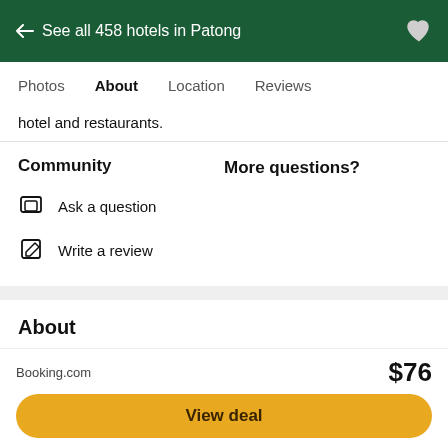← See all 458 hotels in Patong
Photos  About  Location  Reviews
hotel and restaurants.
Community
More questions?
Ask a question
Write a review
About
4.0  Very good
Booking.com  $76  View deal